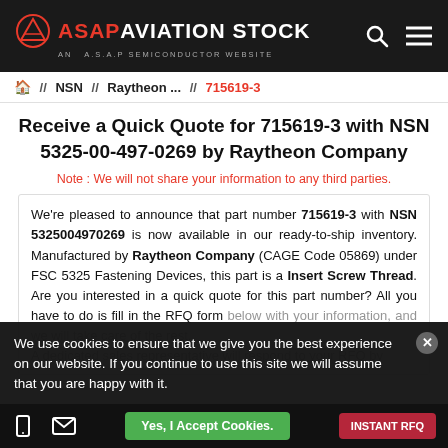ASAP AVIATION STOCK - AN A.S.A.P SEMICONDUCTOR WEBSITE
🏠 // NSN // Raytheon ... // 715619-3
Receive a Quick Quote for 715619-3 with NSN 5325-00-497-0269 by Raytheon Company
Note : We will not share your information to any third parties.
We're pleased to announce that part number 715619-3 with NSN 5325004970269 is now available in our ready-to-ship inventory. Manufactured by Raytheon Company (CAGE Code 05869) under FSC 5325 Fastening Devices, this part is a Insert Screw Thread. Are you interested in a quick quote for this part number? All you have to do is fill in the RFQ form below with your information, and we will take care of the rest. A dedicated sales representative will respond to your RFQ by
We use cookies to ensure that we give you the best experience on our website. If you continue to use this site we will assume that you are happy with it.
Yes, I Accept Cookies.